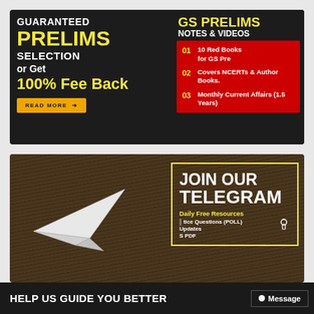[Figure (infographic): Top dark banner advertising 'Guaranteed Prelims Selection or Get 100% Fee Back' on the left with a READ MORE button, and on the right 'GS Prelims Notes & Videos' with a red box listing: 01 10 Red Books for GS Pre, 02 Covers NCERTs & Author Books., 03 Monthly Current Affairs (1.5 Years)]
[Figure (infographic): Bottom dark wood-textured banner with a paper plane on the left and a yellow-bordered box on the right saying 'JOIN OUR TELEGRAM' with subtext: Daily Free Resources, Practice Questions (POLL), Updates, S PDF]
HELP US GUIDE YOU BETTER
Message